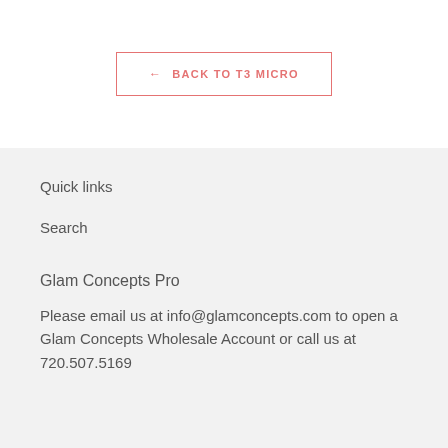← BACK TO T3 MICRO
Quick links
Search
Glam Concepts Pro
Please email us at info@glamconcepts.com to open a Glam Concepts Wholesale Account or call us at 720.507.5169